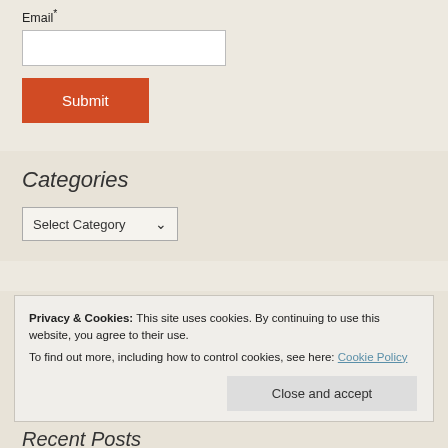Email*
Submit
Categories
Select Category
Privacy & Cookies: This site uses cookies. By continuing to use this website, you agree to their use. To find out more, including how to control cookies, see here: Cookie Policy
Close and accept
Recent Posts